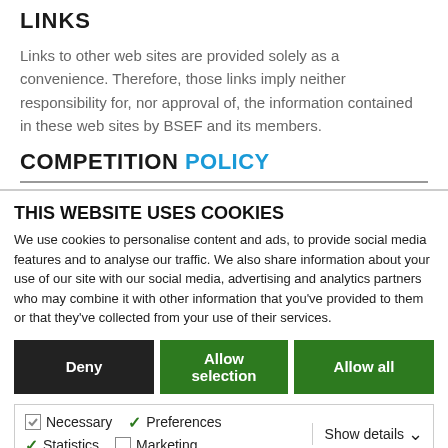LINKS
Links to other web sites are provided solely as a convenience. Therefore, those links imply neither responsibility for, nor approval of, the information contained in these web sites by BSEF and its members.
COMPETITION POLICY
THIS WEBSITE USES COOKIES
We use cookies to personalise content and ads, to provide social media features and to analyse our traffic. We also share information about your use of our site with our social media, advertising and analytics partners who may combine it with other information that you've provided to them or that they've collected from your use of their services.
Deny | Allow selection | Allow all
Necessary | Preferences | Statistics | Marketing | Show details